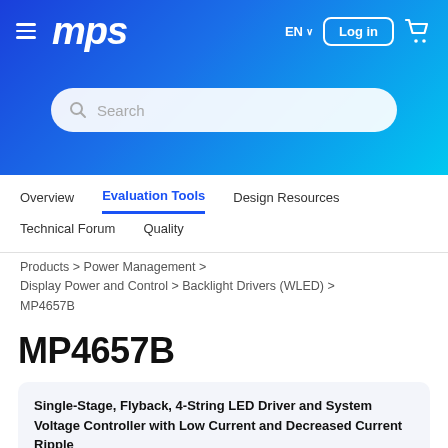[Figure (logo): MPS (Monolithic Power Systems) logo in white italic bold text on blue gradient header banner with hamburger menu icon]
EN ∨   Log in   🛒
Search
Overview   Evaluation Tools   Design Resources   Technical Forum   Quality
Products > Power Management > Display Power and Control > Backlight Drivers (WLED) > MP4657B
MP4657B
Single-Stage, Flyback, 4-String LED Driver and System Voltage Controller with Low Current and Decreased Current Ripple